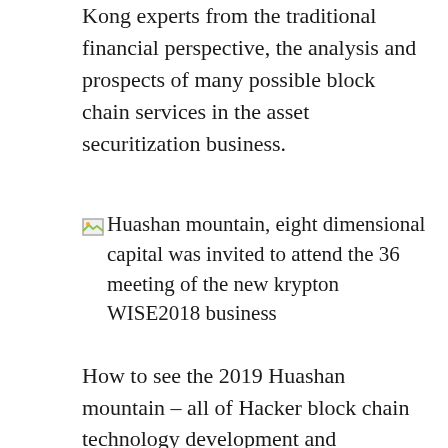Kong experts from the traditional financial perspective, the analysis and prospects of many possible block chain services in the asset securitization business.
[Figure (illustration): Placeholder image icon for article about Huashan mountain, eight dimensional capital invited to attend the 36 meeting of the new krypton WISE2018 business]
Huashan mountain, eight dimensional capital was invited to attend the 36 meeting of the new krypton WISE2018 business
How to see the 2019 Huashan mountain – all of Hacker block chain technology development and challenges of the venue, presided over by the global community Hacker Dorahacks partner Yue Hanchao, Jiang Jiazhi, eight bit, Wei Ran, Changting dimensional capital of science and technology Yu Xiaohang, Ever Chain Jia Yongzhong and other guests discuss